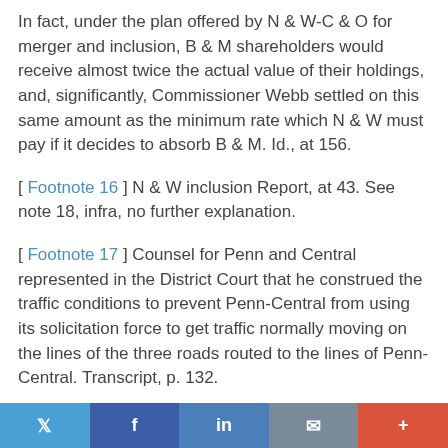In fact, under the plan offered by N & W-C & O for merger and inclusion, B & M shareholders would receive almost twice the actual value of their holdings, and, significantly, Commissioner Webb settled on this same amount as the minimum rate which N & W must pay if it decides to absorb B & M. Id., at 156.
[ Footnote 16 ] N & W inclusion Report, at 43. See note 18, infra, no further explanation.
[ Footnote 17 ] Counsel for Penn and Central represented in the District Court that he construed the traffic conditions to prevent Penn-Central from using its solicitation force to get traffic normally moving on the lines of the three roads routed to the lines of Penn-Central. Transcript, p. 132.
[ Footnote 18 ] In working out the value of E-L's stock for the
Twitter | Facebook | LinkedIn | Email | +